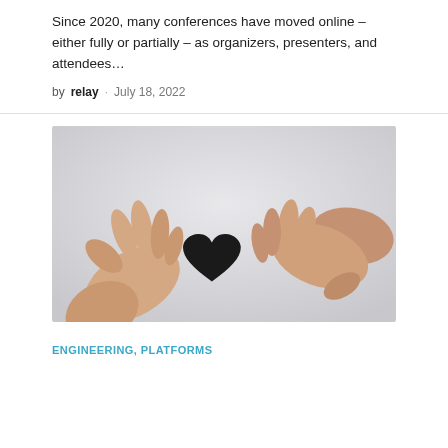Since 2020, many conferences have moved online – either fully or partially – as organizers, presenters, and attendees...
by relay · July 18, 2022
[Figure (photo): Two hands reaching toward each other, both holding a small black paper heart cutout between them, against a light grey background.]
ENGINEERING, PLATFORMS